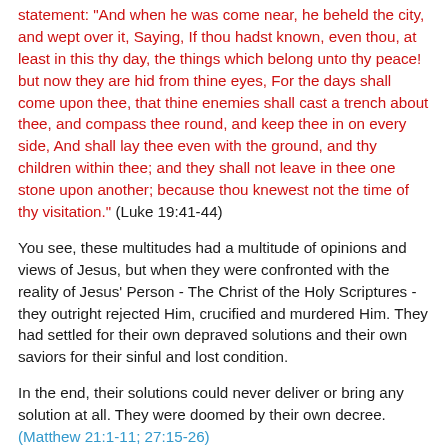statement: "And when he was come near, he beheld the city, and wept over it, Saying, If thou hadst known, even thou, at least in this thy day, the things which belong unto thy peace! but now they are hid from thine eyes, For the days shall come upon thee, that thine enemies shall cast a trench about thee, and compass thee round, and keep thee in on every side, And shall lay thee even with the ground, and thy children within thee; and they shall not leave in thee one stone upon another; because thou knewest not the time of thy visitation." (Luke 19:41-44)
You see, these multitudes had a multitude of opinions and views of Jesus, but when they were confronted with the reality of Jesus' Person - The Christ of the Holy Scriptures - they outright rejected Him, crucified and murdered Him. They had settled for their own depraved solutions and their own saviors for their sinful and lost condition.
In the end, their solutions could never deliver or bring any solution at all. They were doomed by their own decree. (Matthew 21:1-11; 27:15-26)